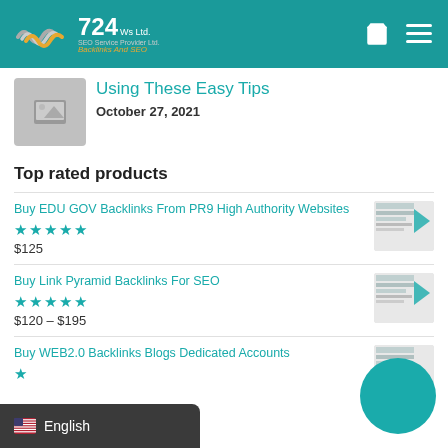724 Ws Ltd. Backlinks And SEO — site header with logo, cart icon, and menu icon
Using These Easy Tips
October 27, 2021
Top rated products
Buy EDU GOV Backlinks From PR9 High Authority Websites
★★★★★
$125
Buy Link Pyramid Backlinks For SEO
★★★★★
$120 – $195
Buy WEB2.0 Backlinks Blogs Dedicated Accounts